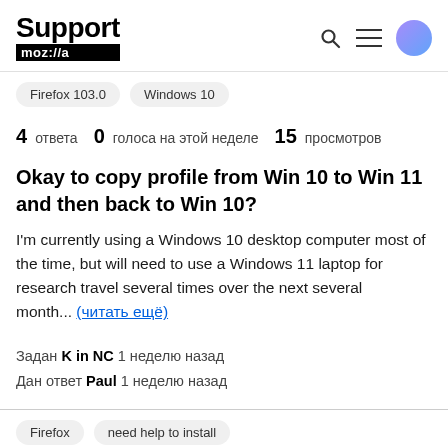Support mozilla// [search icon] [menu icon] [user icon]
Firefox 103.0   Windows 10
4 ответа  0 голоса на этой неделе  15 просмотров
Okay to copy profile from Win 10 to Win 11 and then back to Win 10?
I'm currently using a Windows 10 desktop computer most of the time, but will need to use a Windows 11 laptop for research travel several times over the next several month... (читать ещё)
Задан K in NC 1 неделю назад
Дан ответ Paul 1 неделю назад